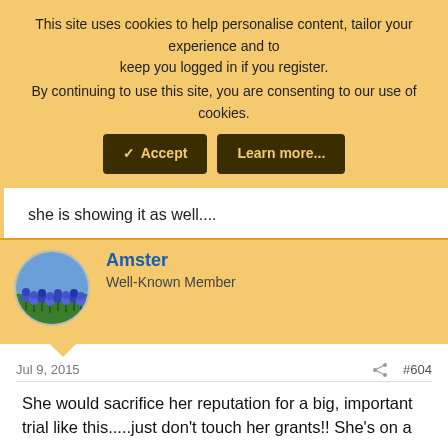This site uses cookies to help personalise content, tailor your experience and to keep you logged in if you register.
By continuing to use this site, you are consenting to our use of cookies.
she is showing it as well....
Amster
Well-Known Member
Jul 9, 2015
#604
She would sacrifice her reputation for a big, important trial like this.....just don't touch her grants!! She's on a one woman